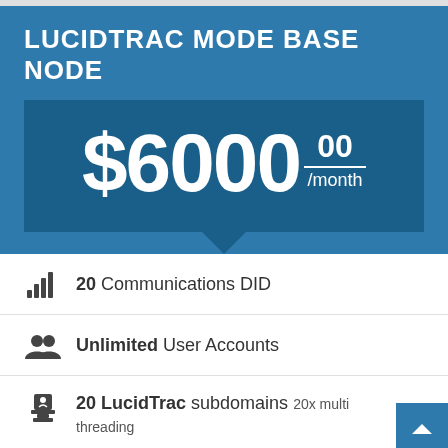LUCIDTRAC MODE BASE NODE
$6000.00 /month
20 Communications DID
Unlimited User Accounts
20 LucidTrac subdomains 20x multi threading